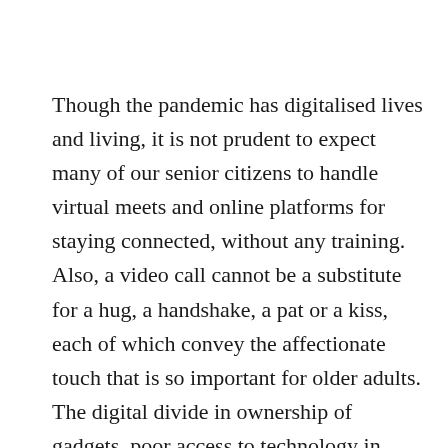Though the pandemic has digitalised lives and living, it is not prudent to expect many of our senior citizens to handle virtual meets and online platforms for staying connected, without any training. Also, a video call cannot be a substitute for a hug, a handshake, a pat or a kiss, each of which convey the affectionate touch that is so important for older adults. The digital divide in ownership of gadgets, poor access to technology in rural areas and gender inequality of digital literacy have further isolated older women from social connections. This might be another possible reason,